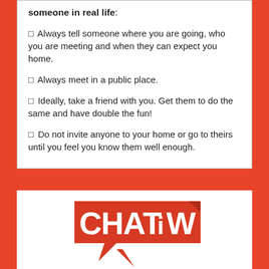someone in real life:
Always tell someone where you are going, who you are meeting and when they can expect you home.
Always meet in a public place.
Ideally, take a friend with you. Get them to do the same and have double the fun!
Do not invite anyone to your home or go to theirs until you feel you know them well enough.
[Figure (logo): CHATiW logo — red speech bubble shape with white bold text reading CHATiW]